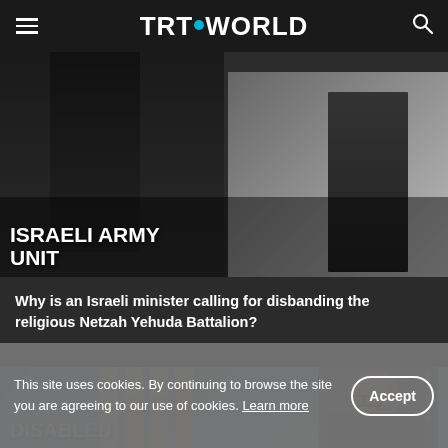TRT WORLD
[Figure (photo): Partial view of an Israeli Army unit scene with figures in dark clothing, text overlay reading 'ISRAELI ARMY UNIT']
Why is an Israeli minister calling for disbanding the religious Netzah Yehuda Battalion?
[Figure (photo): A person with glasses and a kippah viewed from behind near ornate columns, text overlay reading 'DISABLED']
This site uses cookies. By continuing to browse the site you are agreeing to our use of cookies. Learn more